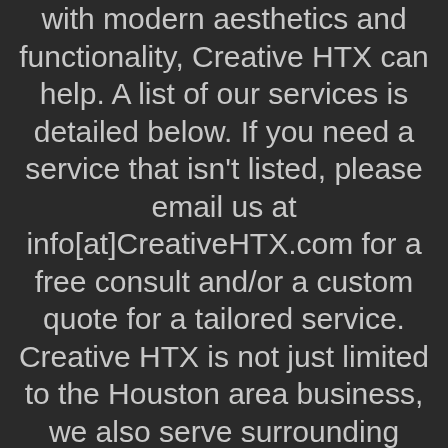with modern aesthetics and functionality, Creative HTX can help. A list of our services is detailed below. If you need a service that isn't listed, please email us at info[at]CreativeHTX.com for a free consult and/or a custom quote for a tailored service. Creative HTX is not just limited to the Houston area business, we also serve surrounding cities from the Woodlands, Katy, and Sugarland.